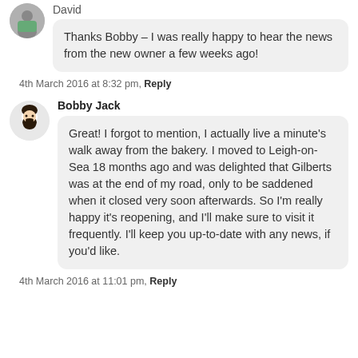David
Thanks Bobby – I was really happy to hear the news from the new owner a few weeks ago!
4th March 2016 at 8:32 pm, Reply
Bobby Jack
Great! I forgot to mention, I actually live a minute's walk away from the bakery. I moved to Leigh-on-Sea 18 months ago and was delighted that Gilberts was at the end of my road, only to be saddened when it closed very soon afterwards. So I'm really happy it's reopening, and I'll make sure to visit it frequently. I'll keep you up-to-date with any news, if you'd like.
4th March 2016 at 11:01 pm, Reply